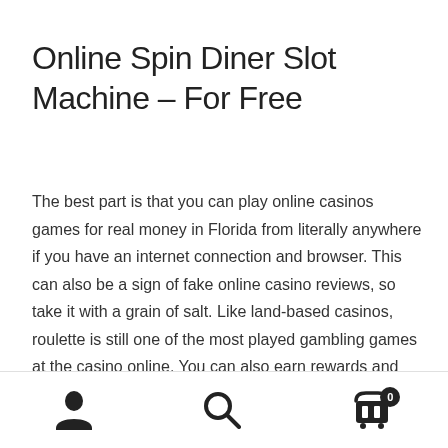Online Spin Diner Slot Machine – For Free
The best part is that you can play online casinos games for real money in Florida from literally anywhere if you have an internet connection and browser. This can also be a sign of fake online casino reviews, so take it with a grain of salt. Like land-based casinos, roulette is still one of the most played gambling games at the casino online. You can also earn rewards and turn them into credits later. Now, locate and copy your crypto wallet address from your Digital Wallet, head back to the cashier section, input your
User icon | Search icon | Cart icon (0)